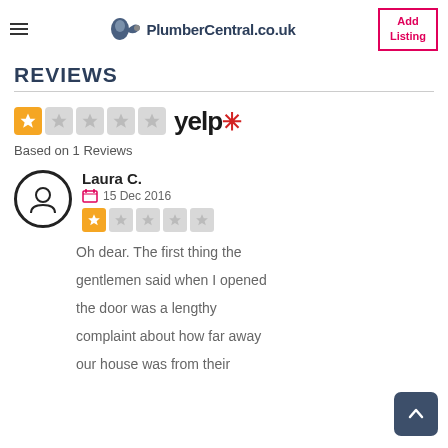PlumberCentral.co.uk | Add Listing
Reviews
[Figure (logo): Yelp logo with 1-star rating (1 filled star, 4 empty stars) and Yelp wordmark]
Based on 1 Reviews
Laura C.
15 Dec 2016
[1 star rating]
Oh dear. The first thing the gentlemen said when I opened the door was a lengthy complaint about how far away our house was from their